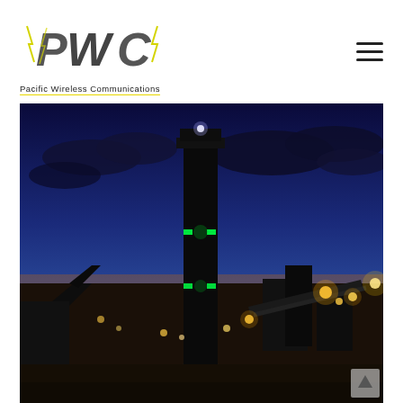[Figure (logo): PWC (Pacific Wireless Communications) logo with yellow lightning bolt accents on the letters P, W, C, and the text 'Pacific Wireless Communications' below with a yellow underline]
[Figure (photo): Night-time industrial mining facility photograph showing a tall dark tower/silo illuminated with green lights in the center, surrounded by conveyor belts, machinery, and industrial structures lit with warm yellow/orange lighting against a deep blue twilight sky with clouds]